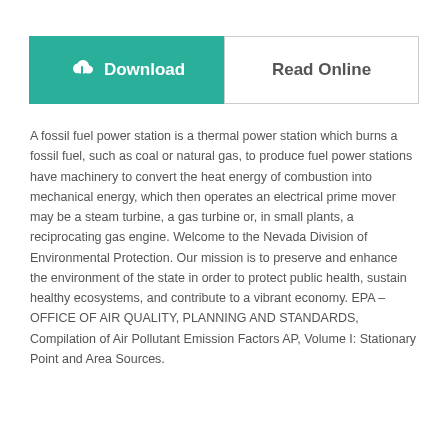[Figure (other): Download button (teal/green background with cloud-download icon and bold white text 'Download') and Read Online button (white background with gray border and bold gray text 'Read Online') side by side]
A fossil fuel power station is a thermal power station which burns a fossil fuel, such as coal or natural gas, to produce fuel power stations have machinery to convert the heat energy of combustion into mechanical energy, which then operates an electrical prime mover may be a steam turbine, a gas turbine or, in small plants, a reciprocating gas engine. Welcome to the Nevada Division of Environmental Protection. Our mission is to preserve and enhance the environment of the state in order to protect public health, sustain healthy ecosystems, and contribute to a vibrant economy. EPA – OFFICE OF AIR QUALITY, PLANNING AND STANDARDS, Compilation of Air Pollutant Emission Factors AP, Volume I: Stationary Point and Area Sources.